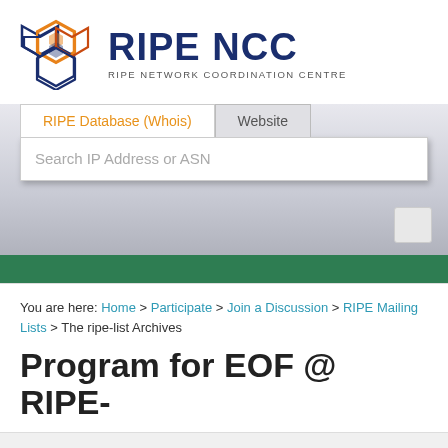[Figure (logo): RIPE NCC logo with hexagonal graphic and text 'RIPE NCC' and subtitle 'RIPE NETWORK COORDINATION CENTRE']
RIPE Database (Whois)	Website
Search IP Address or ASN
You are here: Home > Participate > Join a Discussion > RIPE Mailing Lists > The ripe-list Archives
Program for EOF @ RIPE-
The RIPE NCC uses cookies. Some of these cookies may have been set already. More information about our cookies can be found in our privacy policy. You can accept our cookies either by clicking here or by continuing to use the site.